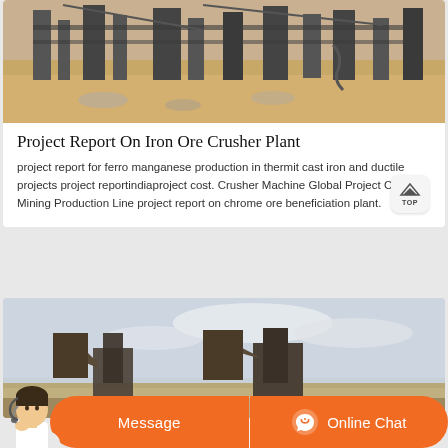[Figure (photo): Industrial iron ore crusher plant site with metal structures, pillars, sandy ground and machinery]
Project Report On Iron Ore Crusher Plant
project report for ferro manganese production in thermit cast iron and ductile projects project reportindiaproject cost. Crusher Machine Global Project Case Mining Production Line project report on chrome ore beneficiation plant.
[Figure (photo): Mining/crusher machinery photographed against an overcast sky]
[Figure (photo): Customer service representative with headset used for online chat widget]